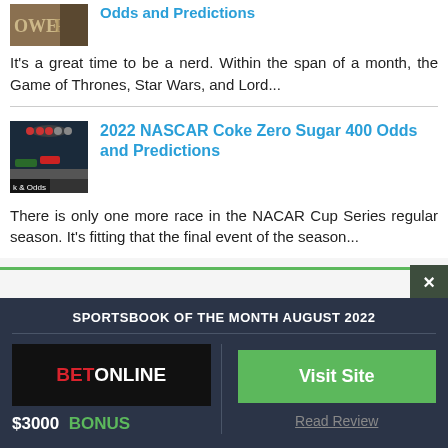[Figure (photo): Partial thumbnail image of a book/game cover with text OWER visible]
Odds and Predictions
It's a great time to be a nerd. Within the span of a month, the Game of Thrones, Star Wars, and Lord...
[Figure (photo): NASCAR race thumbnail image with overlay text '& Odds']
2022 NASCAR Coke Zero Sugar 400 Odds and Predictions
There is only one more race in the NACAR Cup Series regular season. It's fitting that the final event of the season...
SPORTSBOOK OF THE MONTH AUGUST 2022
[Figure (logo): BetOnline logo on black background]
$3000  BONUS
Visit Site
Read Review